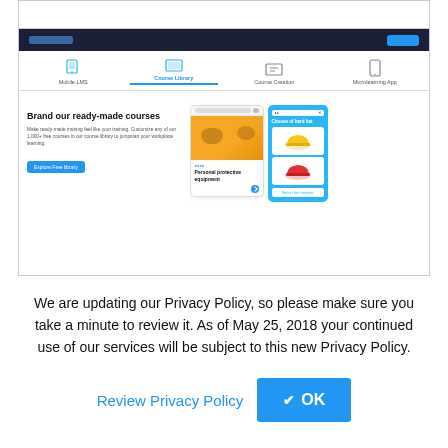[Figure (screenshot): Screenshot of an e-learning platform showing navigation tabs (Mobile LMS, Course Library, Course Creation, Microlearning App) and a 'Brand our ready-made courses' section with course card and mobile preview panel]
We are updating our Privacy Policy, so please make sure you take a minute to review it. As of May 25, 2018 your continued use of our services will be subject to this new Privacy Policy.
Review Privacy Policy
✔ OK